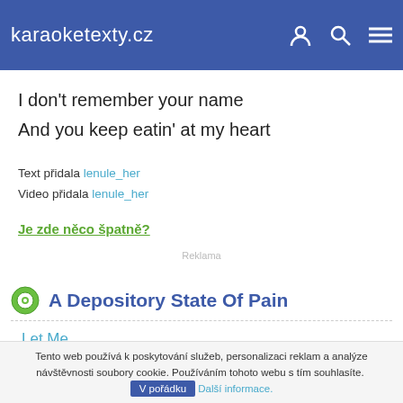karaoketexty.cz
I don't remember your name
And you keep eatin' at my heart
Text přidala lenule_her
Video přidala lenule_her
Je zde něco špatně?
Reklama
A Depository State Of Pain
Let Me
Been thinkin' of you
Tento web používá k poskytování služeb, personalizaci reklam a analýze návštěvnosti soubory cookie. Používáním tohoto webu s tím souhlasíte. V pořádku Další informace.